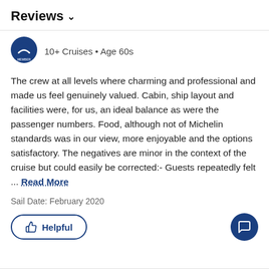Reviews ∨
10+ Cruises • Age 60s
The crew at all levels where charming and professional and made us feel genuinely valued. Cabin, ship layout and facilities were, for us, an ideal balance as were the passenger numbers. Food, although not of Michelin standards was in our view, more enjoyable and the options satisfactory. The negatives are minor in the context of the cruise but could easily be corrected:- Guests repeatedly felt ... Read More
Sail Date: February 2020
Helpful